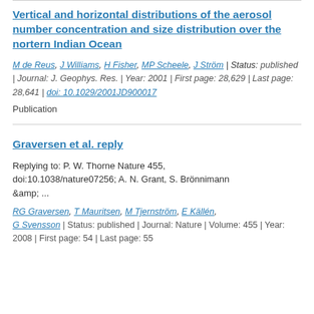Vertical and horizontal distributions of the aerosol number concentration and size distribution over the nortern Indian Ocean
M de Reus, J Williams, H Fisher, MP Scheele, J Ström | Status: published | Journal: J. Geophys. Res. | Year: 2001 | First page: 28,629 | Last page: 28,641 | doi: 10.1029/2001JD900017
Publication
Graversen et al. reply
Replying to: P. W. Thorne Nature 455, doi:10.1038/nature07256; A. N. Grant, S. Bro¨nnimann &amp; ...
RG Graversen, T Mauritsen, M Tjernström, E Källén, G Svensson | Status: published | Journal: Nature | Volume: 455 | Year: 2008 | First page: 54 | Last page: 55